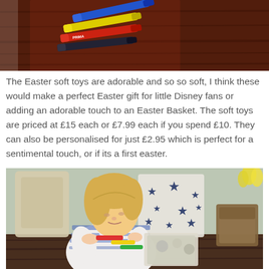[Figure (photo): Close-up photo of colourful marker pens/felt-tips laid on a dark wooden table]
The Easter soft toys are adorable and so so soft, I think these would make a perfect Easter gift for little Disney fans or adding an adorable touch to an Easter Basket. The soft toys are priced at £15 each or £7.99 each if you spend £10. They can also be personalised for just £2.95 which is perfect for a sentimental touch, or if its a first easter.
[Figure (photo): Young blonde child sitting at a dark wooden table, drawing or colouring with felt-tip pens and art supplies, wearing a white and blue patterned jumper. Background shows wooden chairs and a star-patterned fabric.]